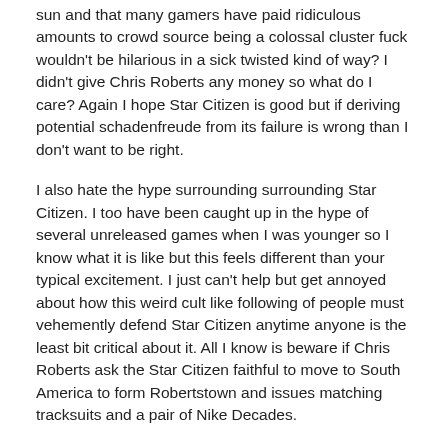sun and that many gamers have paid ridiculous amounts to crowd source being a colossal cluster fuck wouldn't be hilarious in a sick twisted kind of way? I didn't give Chris Roberts any money so what do I care? Again I hope Star Citizen is good but if deriving potential schadenfreude from its failure is wrong than I don't want to be right.
I also hate the hype surrounding surrounding Star Citizen. I too have been caught up in the hype of several unreleased games when I was younger so I know what it is like but this feels different than your typical excitement. I just can't help but get annoyed about how this weird cult like following of people must vehemently defend Star Citizen anytime anyone is the least bit critical about it. All I know is beware if Chris Roberts ask the Star Citizen faithful to move to South America to form Robertstown and issues matching tracksuits and a pair of Nike Decades.
One more thing Duder > Gamer FYI
7 years ago